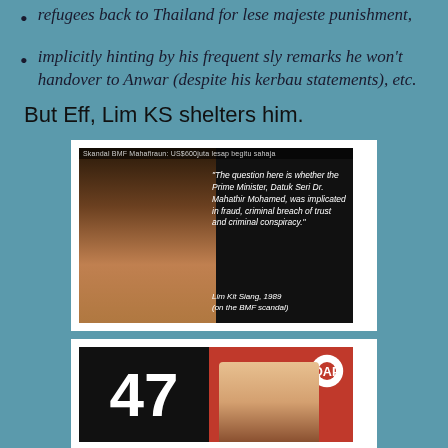refugees back to Thailand for lese majeste punishment,
implicitly hinting by his frequent sly remarks he won't handover to Anwar (despite his kerbau statements), etc.
But Eff, Lim KS shelters him.
[Figure (photo): Photo of elderly man with a quote overlay: 'The question here is whether the Prime Minister, Datuk Seri Dr. Mahathir Mohamed, was implicated in fraud, criminal breach of trust and criminal conspiracy.' - Lim Kit Siang, 1989 (on the BMF scandal). Header text: Skandal BMF Mahafiraun: US$600juta lesap begitu sahaja]
[Figure (photo): Image showing the number 47 in large white text on black background, with a red panel on the right showing a person and DAP logo]